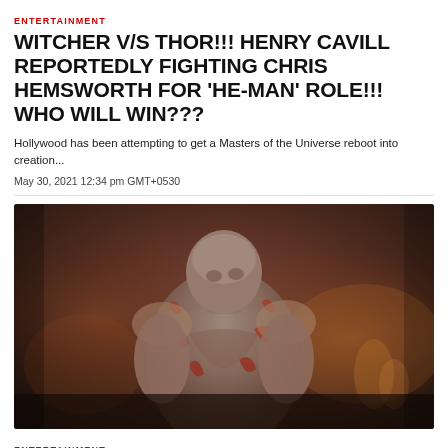ENTERTAINMENT
WITCHER V/S THOR!!! HENRY CAVILL REPORTEDLY FIGHTING CHRIS HEMSWORTH FOR 'HE-MAN' ROLE!!! WHO WILL WIN???
Hollywood has been attempting to get a Masters of the Universe reboot into creation...
May 30, 2021 12:34 pm GMT+0530
[Figure (photo): A muscular male character with red tattoo-like markings on grey skin, standing in a dramatically lit scene — depicting Drax from Guardians of the Galaxy.]
ENTERTAINMENT
DAVE BAUTISTA, 52, SAYS HE'S LEAVING 'GUARDIANS OF THE GALAXY' OVER...